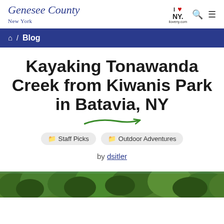Genesee County New York | I Love NY | iloveny.com
🏠 / Blog
Kayaking Tonawanda Creek from Kiwanis Park in Batavia, NY
Staff Picks
Outdoor Adventures
by dsitler
[Figure (photo): Bottom strip of green tree canopy photo]